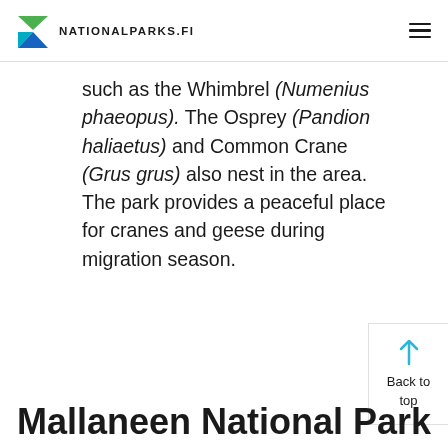NATIONALPARKS.FI
such as the Whimbrel (Numenius phaeopus). The Osprey (Pandion haliaetus) and Common Crane (Grus grus) also nest in the area. The park provides a peaceful place for cranes and geese during migration season.
Back to top
Mallaneen National Park